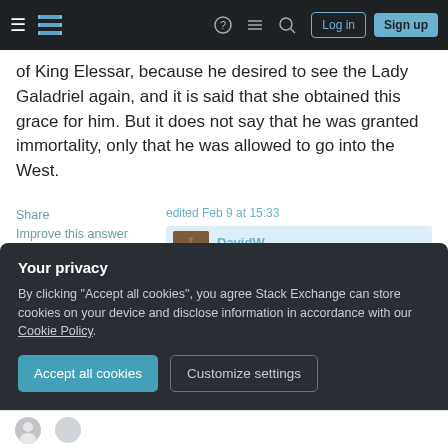Stack Exchange navigation bar with Log in and Sign up buttons
of King Elessar, because he desired to see the Lady Galadriel again, and it is said that she obtained this grace for him. But it does not say that he was granted immortality, only that he was allowed to go into the West.
Share | Improve this answer | Follow
edited Feb 9 at 15:33 DavidW 88.2k 23 382 479
answered Jun 30, 2017 at 21:12 Jesse
Your privacy
By clicking "Accept all cookies", you agree Stack Exchange can store cookies on your device and disclose information in accordance with our Cookie Policy.
Accept all cookies | Customize settings